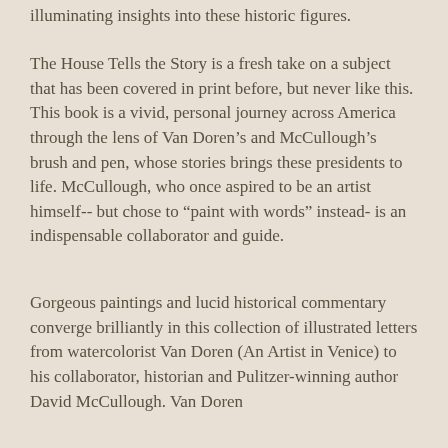illuminating insights into these historic figures.
The House Tells the Story is a fresh take on a subject that has been covered in print before, but never like this. This book is a vivid, personal journey across America through the lens of Van Doren’s and McCullough’s brush and pen, whose stories brings these presidents to life. McCullough, who once aspired to be an artist himself-- but chose to “paint with words” instead- is an indispensable collaborator and guide.
Gorgeous paintings and lucid historical commentary converge brilliantly in this collection of illustrated letters from watercolorist Van Doren (An Artist in Venice) to his collaborator, historian and Pulitzer-winning author David McCullough. Van Doren